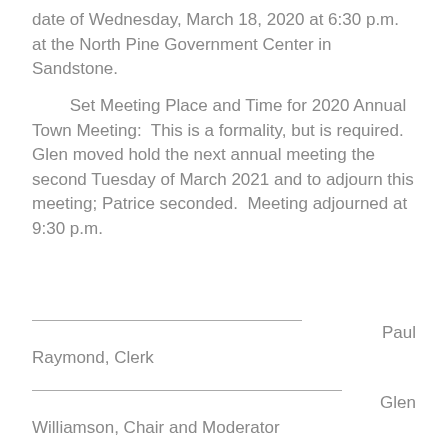date of Wednesday, March 18, 2020 at 6:30 p.m. at the North Pine Government Center in Sandstone.
Set Meeting Place and Time for 2020 Annual Town Meeting:  This is a formality, but is required. Glen moved hold the next annual meeting the second Tuesday of March 2021 and to adjourn this meeting; Patrice seconded.  Meeting adjourned at 9:30 p.m.
Paul Raymond, Clerk
Glen Williamson, Chair and Moderator